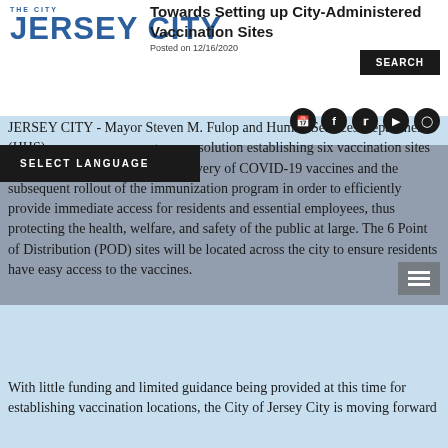THE CITY JERSEY CITY
Towards Setting up City-Administered Vaccination Sites
Posted on 12/16/2020
SELECT LANGUAGE
JERSEY CITY - Mayor Steven M. Fulop and Human Services Department (HHS) announce an emergency resolution establishing six vaccination sites to proactively prepare for the delivery of COVID-19 vaccines and the subsequent rollout of the immunization program in order to efficiently provide immediate access for residents and essential employees, thus protecting the health, welfare, and safety of the public at large. The 6 Point of Distribution (POD) sites will be located across the city to ensure residents have easy access to the vaccines.
With little funding and limited guidance being provided at this time for establishing vaccination locations, the City of Jersey City is moving forward on $3 million allocation to establish the POD sit...